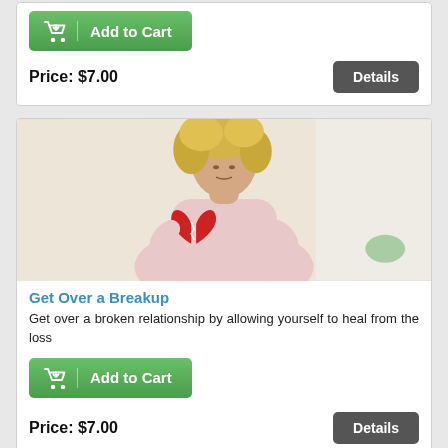[Figure (other): Add to Cart green button (top card)]
Price: $7.00
[Figure (photo): Woman with blonde curly hair holding a broken red heart]
Get Over a Breakup
Get over a broken relationship by allowing yourself to heal from the loss
[Figure (other): Add to Cart green button (second card)]
Price: $7.00
[Figure (photo): Partial image at bottom of page (cropped)]